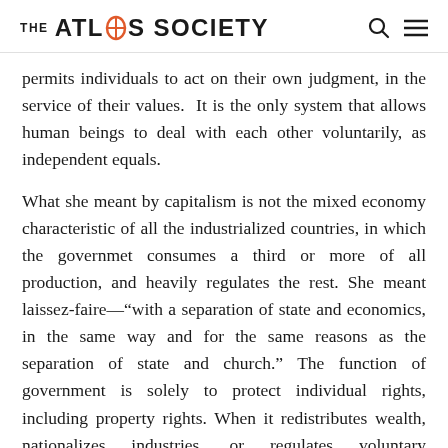THE ATLAS SOCIETY
permits individuals to act on their own judgment, in the service of their values.  It is the only system that allows human beings to deal with each other voluntarily, as independent equals.
What she meant by capitalism is not the mixed economy characteristic of all the industrialized countries, in which the government consumes a third or more of all production, and heavily regulates the rest. She meant laissez-faire--"with a separation of state and economics, in the same way and for the same reasons as the separation of state and church." The function of government is solely to protect individual rights, including property rights. When it redistributes wealth, nationalizes industries, or regulates voluntary transactions among consenting adults, it commits the